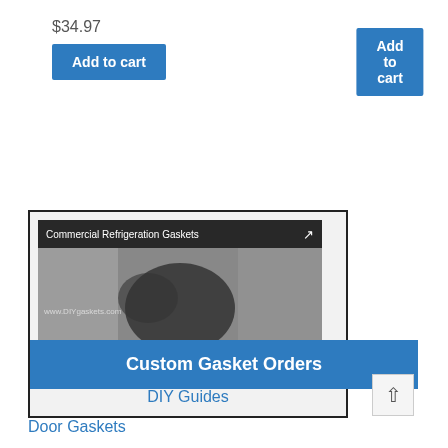$34.97
Add to cart
Add to cart
[Figure (screenshot): Embedded YouTube video thumbnail showing 'Commercial Refrigeration Gaskets' with a person handling a refrigerator door gasket, red play button in center, and DIY Guides label below]
DIY Guides
Custom Gasket Orders
Door Gaskets